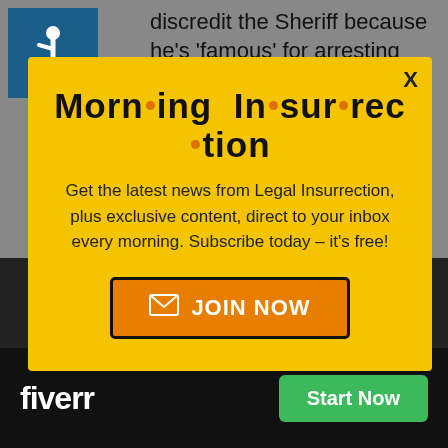[Figure (logo): Accessibility wheelchair icon in white on teal/dark blue background]
discredit the Sheriff because he's 'famous' for arresting celebrities like Willie Nelson! The
[Figure (infographic): Modal popup with yellow background. Title: Morn·ing In·sur·rec·tion. Body: Get the latest news from Legal Insurrection, plus exclusive content, direct to your inbox every morning. Subscribe today – it's free! Orange JOIN NOW button with envelope icon.]
il alien for bre... the law, because you
WITNESS and of course
[Figure (logo): Fiverr logo and Start Now green button on black background bar]